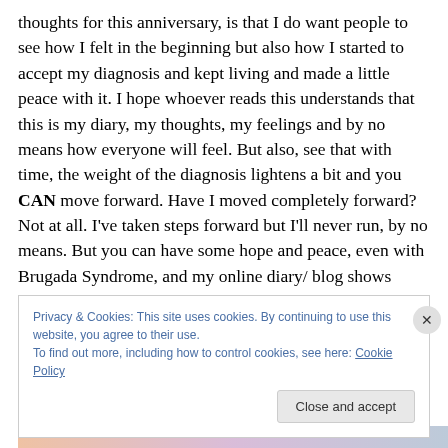thoughts for this anniversary, is that I do want people to see how I felt in the beginning but also how I started to accept my diagnosis and kept living and made a little peace with it. I hope whoever reads this understands that this is my diary, my thoughts, my feelings and by no means how everyone will feel. But also, see that with time, the weight of the diagnosis lightens a bit and you CAN move forward. Have I moved completely forward? Not at all. I've taken steps forward but I'll never run, by no means. But you can have some hope and peace, even with Brugada Syndrome, and my online diary/ blog shows
Privacy & Cookies: This site uses cookies. By continuing to use this website, you agree to their use. To find out more, including how to control cookies, see here: Cookie Policy
Close and accept